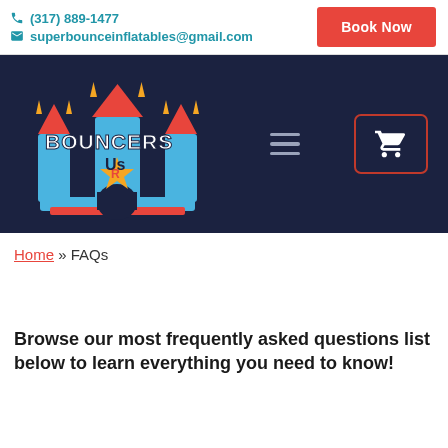(317) 889-1477 | superbounceinflatables@gmail.com | Book Now
[Figure (logo): Bouncers R Us inflatable castle logo on dark navy background with hamburger menu and cart button]
Home » FAQs
Browse our most frequently asked questions list below to learn everything you need to know!